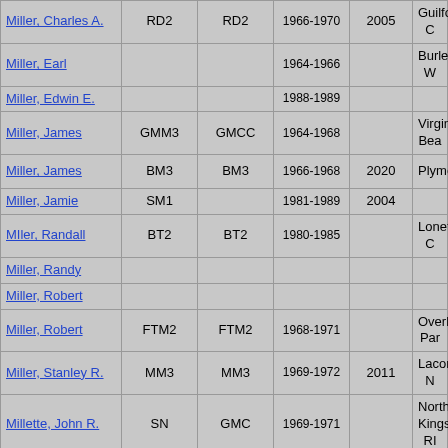| Name | Rank | Rank | Years | Year | Location |
| --- | --- | --- | --- | --- | --- |
| Miller, Charles A. | RD2 | RD2 | 1966-1970 | 2005 | Guilford, C… |
| Miller, Earl |  |  | 1964-1966 |  | Burley, W… |
| Miller, Edwin E. |  |  | 1988-1989 |  |  |
| Miller, James | GMM3 | GMCC | 1964-1968 |  | Virginia Bea… |
| Miller, James | BM3 | BM3 | 1966-1968 | 2020 | Plymouth,… |
| Miller, Jamie | SM1 |  | 1981-1989 | 2004 |  |
| MIler, Randall | BT2 | BT2 | 1980-1985 |  | Lonetree, … |
| Miller, Randy |  |  |  |  |  |
| Miller, Robert |  |  |  |  |  |
| Miller, Robert | FTM2 | FTM2 | 1968-1971 |  | Overland Par… |
| Miller, Stanley R. | MM3 | MM3 | 1969-1972 | 2011 | Lacona, N… |
| Millette, John R. | SN | GMC | 1969-1971 |  | North Kingst… RI |
| Mills, Charles | RMC |  | 1962-1961 |  | Charleston,… |
| Mills, Donald | MM1 | MMC | 1987-1989 |  | Jacksonville… |
| Mills, Gary | FTG2 |  | 1971-1974 |  | Buford , G… |
| Mills, Michael | RDSN |  | 1972-… |  |  |